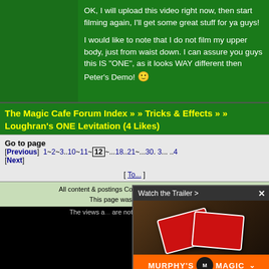OK, I will upload this video right now, then start filming again, I'll get some great stuff for ya guys!

I would like to note that I do not film my upper body, just from waist down. I can assure you guys this IS "ONE", as it looks WAY different then Peter's Demo! 🙂
The Magic Cafe Forum Index » » Tricks & Effects » » Loughran's ONE Levitation (4 Likes)
Go to page
[Previous] 1~2~3..10~11~ 12 ~...18..21~...30. 3... ..4
[Next]
[ To... ]
All content & postings Copyright © 2... ...ve... ...gh...
This page was created in 0.0...
The views a... are not necessarily those ...ks
BILLIONS A
[Figure (screenshot): Three golden house-shaped advertisement banners: FREE MAGIC (check this >>), NEW products! (right here >>), VAULT with BRO GILBERT (click here >>)]
[Figure (screenshot): Video popup overlay: 'Watch the Trailer >' header with X close button, showing a photo of playing cards on a dark surface, with Murphy's Magic orange footer bar and M logo]